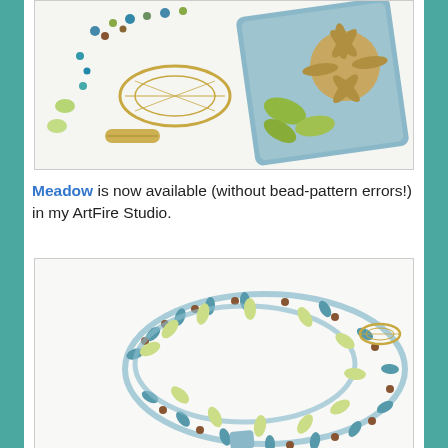[Figure (photo): Close-up photo of beaded jewelry components: a gold filigree leaf pendant, a blue floral ceramic tile pendant with carved flower design, small teal and brown beads, a gold toggle clasp, on a white background.]
Meadow is now available (without bead-pattern errors!) in my ArtFire Studio.
[Figure (photo): Photo of a beaded necklace coiled on white background, featuring turquoise oval beads, small brown round beads, small teal seed beads, light green oval beads, and a gold filigree leaf clasp.]